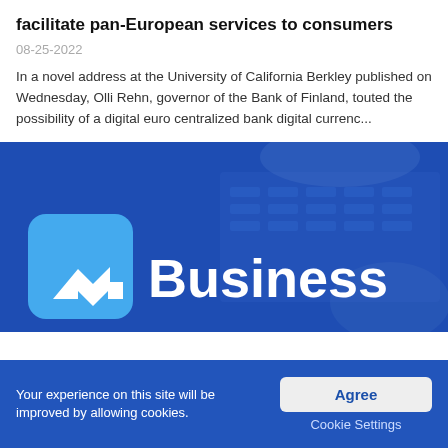facilitate pan-European services to consumers
08-25-2022
In a novel address at the University of California Berkley published on Wednesday, Olli Rehn, governor of the Bank of Finland, touted the possibility of a digital euro centralized bank digital currenc...
[Figure (illustration): Blue-toned banner image showing hands on a keyboard in the background with a blue overlay. In the foreground, a rounded square logo with an X/arrow icon and the word 'Business' in large white text.]
Your experience on this site will be improved by allowing cookies.
Agree
Cookie Settings